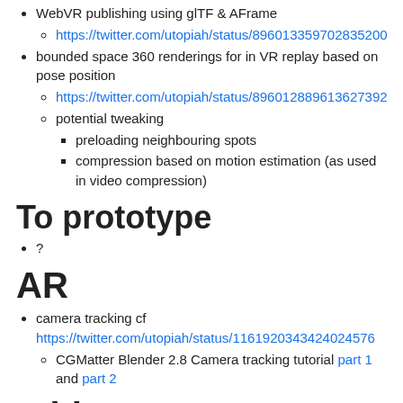WebVR publishing using glTF & AFrame
https://twitter.com/utopiah/status/896013359702835200
bounded space 360 renderings for in VR replay based on pose position
https://twitter.com/utopiah/status/896012889613627392
potential tweaking
preloading neighbouring spots
compression based on motion estimation (as used in video compression)
To prototype
?
AR
camera tracking cf https://twitter.com/utopiah/status/1161920343424024576
CGMatter Blender 2.8 Camera tracking tutorial part 1 and part 2
With VR